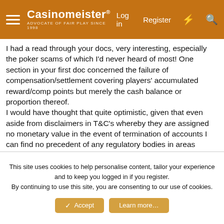Casinomeister® — Log in | Register
I had a read through your docs, very interesting, especially the poker scams of which I'd never heard of most! One section in your first doc concerned the failure of compensation/settlement covering players' accumulated reward/comp points but merely the cash balance or proportion thereof.
I would have thought that quite optimistic, given that even aside from disclaimers in T&C's whereby they are assigned no monetary value in the event of termination of accounts I can find no precedent of any regulatory bodies in areas outside of gambling where 'incentives' or rewards have been part of settlements in the event of insolvency or cessation of trading. If Tescos (albeit a dramatic example) went bust, there would be no obligation to honour clubcard points or the new or rescue business honouring them.
This site uses cookies to help personalise content, tailor your experience and to keep you logged in if you register.
By continuing to use this site, you are consenting to our use of cookies.